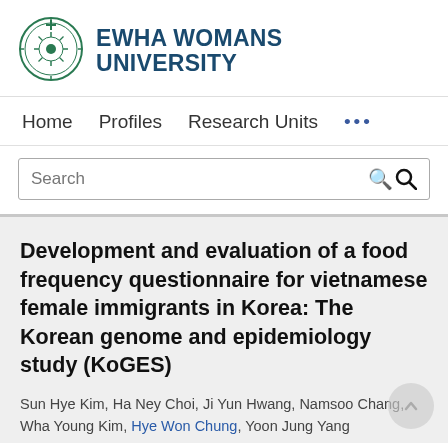[Figure (logo): Ewha Womans University circular seal/logo in green]
EWHA WOMANS UNIVERSITY
Home   Profiles   Research Units   ...
Search
Development and evaluation of a food frequency questionnaire for vietnamese female immigrants in Korea: The Korean genome and epidemiology study (KoGES)
Sun Hye Kim, Ha Ney Choi, Ji Yun Hwang, Namsoo Chang, Wha Young Kim, Hye Won Chung, Yoon Jung Yang